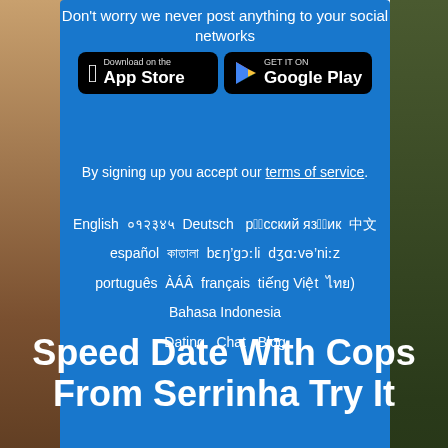Don't worry we never post anything to your social networks
[Figure (screenshot): App Store and Google Play download buttons on blue background]
By signing up you accept our terms of service.
English  ‌‌‌‌‌‌  Deutsch  рýсский язýик  ‌‌‌  español  ‌‌‌‌‌‌  bɛŋ'gɔːli  dʒɑːvə'niːz  português  ‌‌‌  français  tiếng Việt  ‌‌‌)  Bahasa Indonesia  Dating  Chat  Blog
Speed Date With Cops From Serrinha Try It